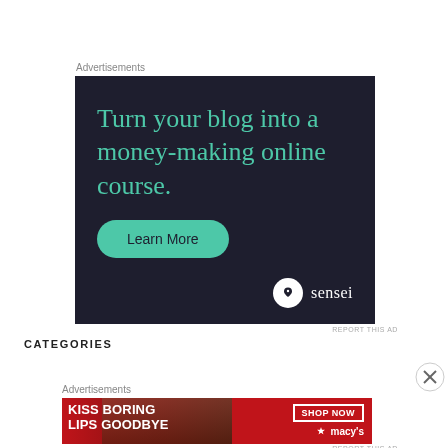Advertisements
[Figure (illustration): Sensei advertisement with dark background. Text reads 'Turn your blog into a money-making online course.' with a teal 'Learn More' button and Sensei logo at bottom right.]
REPORT THIS AD
CATEGORIES
Advertisements
[Figure (illustration): Macy's advertisement with red background showing close-up of woman's lips. Text reads 'KISS BORING LIPS GOODBYE' with 'SHOP NOW' button and Macy's star logo.]
REPORT THIS AD